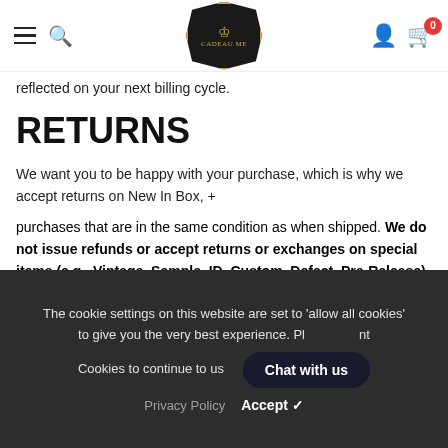Navigation bar with hamburger menu, search icon, logo, user icon, and cart (0)
reflected on your next billing cycle.
RETURNS
We want you to be happy with your purchase, which is why we accept returns on New In Box, +
purchases that are in the same condition as when shipped. We do not issue refunds or accept returns or exchanges on special items (e.g., Vintage, Sample, ID, Custom, Defect, Pre-Release), any used items, any items listed as "Final Sale" on the checkout page, or any items shipped to a freight forwarder or a delivery address in the People's Republic of
The cookie settings on this website are set to 'allow all cookies' to give you the very best experience. Pl nt Cookies to continue to use Chat with us
Privacy Policy   Accept ✓